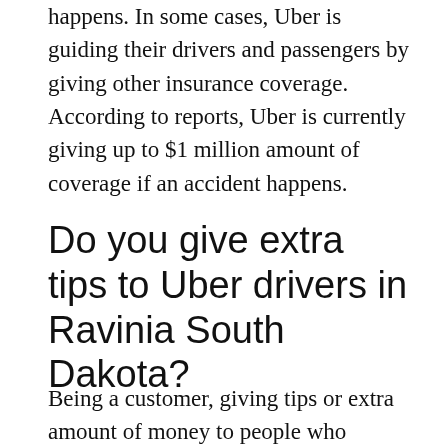happens. In some cases, Uber is guiding their drivers and passengers by giving other insurance coverage. According to reports, Uber is currently giving up to $1 million amount of coverage if an accident happens.
Do you give extra tips to Uber drivers in Ravinia South Dakota?
Being a customer, giving tips or extra amount of money to people who served us is common in our d. Giving tips for...